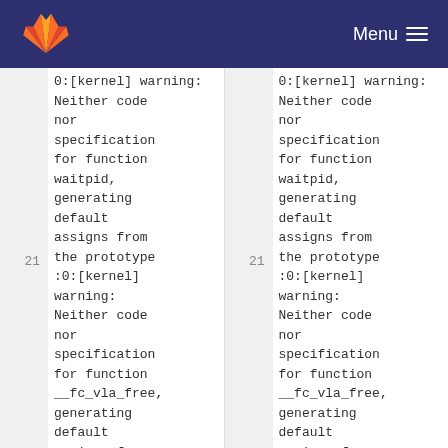GitLab Menu
0:[kernel] warning: Neither code nor specification for function waitpid, generating default assigns from the prototype
:0:[kernel] warning: Neither code nor specification for function waitpid, generating default assigns from the prototype
21 :0:[kernel] warning: Neither code nor specification for function __fc_vla_free, generating default assigns from
21 :0:[kernel] warning: Neither code nor specification for function __fc_vla_free, generating default assigns from